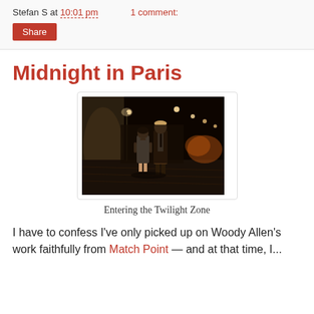Stefan S at 10:01 pm    1 comment:
Share
Midnight in Paris
[Figure (photo): Night scene showing a man and woman standing on a cobblestone Parisian street, lit by warm street lamps. The woman wears a white dress, the man wears a suit with a tie.]
Entering the Twilight Zone
I have to confess I've only picked up on Woody Allen's work faithfully from Match Point — and at that time, I...